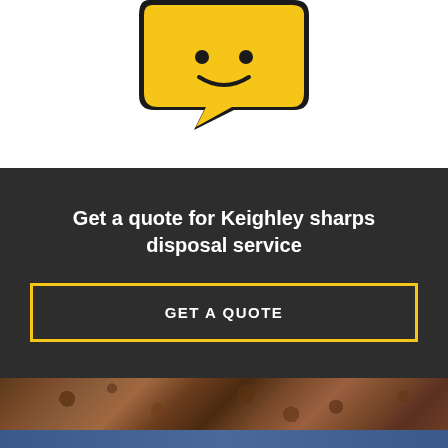[Figure (illustration): Yellow speech bubble / chat icon with black outline, partially visible at top of page]
Get a quote for Keighley sharps disposal service
GET A QUOTE